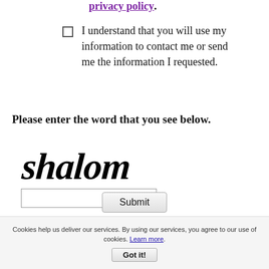privacy policy.
I understand that you will use my information to contact me or send me the information I requested.
Please enter the word that you see below.
[Figure (other): CAPTCHA image showing the word 'shalom' in stylized italic handwritten-style black text]
Submit
Cookies help us deliver our services. By using our services, you agree to our use of cookies. Learn more.
Got it!